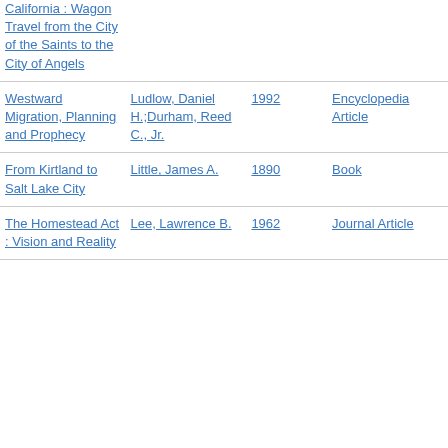| Title | Author | Year | Type |
| --- | --- | --- | --- |
| California : Wagon Travel from the City of the Saints to the City of Angels |  |  |  |
| Westward Migration, Planning and Prophecy | Ludlow, Daniel H.;Durham, Reed C., Jr. | 1992 | Encyclopedia Article |
| From Kirtland to Salt Lake City | Little, James A. | 1890 | Book |
| The Homestead Act : Vision and Reality | Lee, Lawrence B. | 1962 | Journal Article |